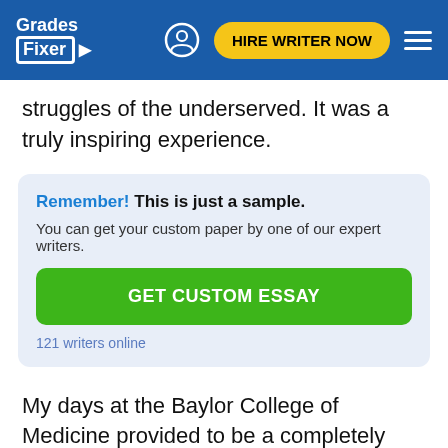Grades Fixer | HIRE WRITER NOW
struggles of the underserved. It was a truly inspiring experience.
[Figure (infographic): Promotional call-to-action box with blue background: 'Remember! This is just a sample. You can get your custom paper by one of our expert writers.' with a green GET CUSTOM ESSAY button and '121 writers online' text.]
My days at the Baylor College of Medicine provided to be a completely different perspective, not just in terms of the socioeconomic status of the population it serves, but also the caliber of the